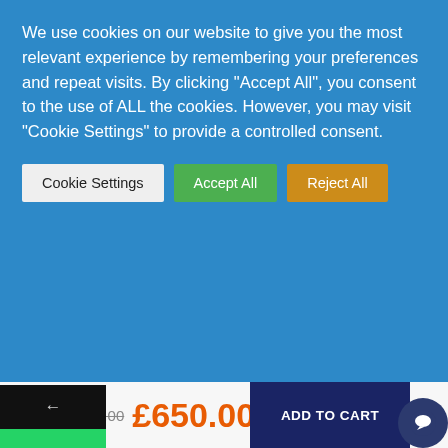We use cookies on our website to give you the most relevant experience by remembering your preferences and repeat visits. By clicking "Accept All", you consent to the use of ALL the cookies. However, you may visit "Cookie Settings" to provide a controlled consent.
Cookie Settings
Accept All
Reject All
←
[Figure (logo): WhatsApp icon (white phone in speech bubble on green background)]
[Figure (icon): Phone call icon (white handset on green background)]
RAINING
Courses
Offer & Packages
Job Guarantee
£800.00  £650.00
ADD TO CART